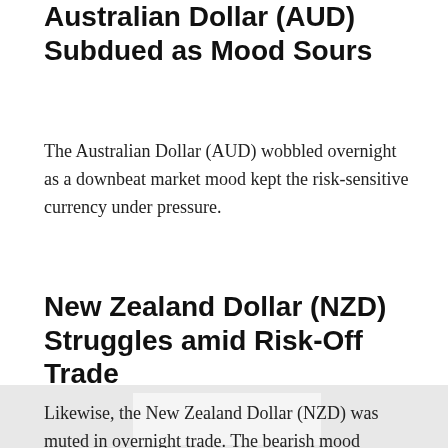Australian Dollar (AUD) Subdued as Mood Sours
The Australian Dollar (AUD) wobbled overnight as a downbeat market mood kept the risk-sensitive currency under pressure.
New Zealand Dollar (NZD) Struggles amid Risk-Off Trade
Likewise, the New Zealand Dollar (NZD) was muted in overnight trade. The bearish mood sapped demand for the risk-sensitive...